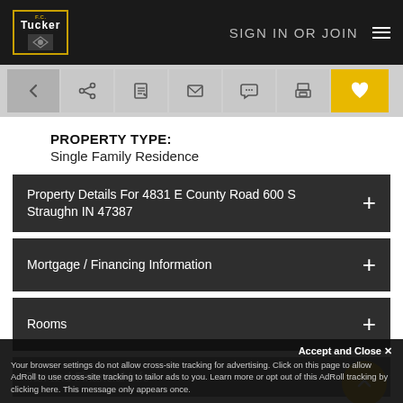F.C. Tucker — SIGN IN OR JOIN
[Figure (screenshot): Navigation toolbar with back, share, edit, email, chat, print, and favorite (heart) icons]
PROPERTY TYPE:
Single Family Residence
Property Details For 4831 E County Road 600 S Straughn IN 47387
Mortgage / Financing Information
Rooms
Tax and Financial Info
Community Information
Accept and Close ✕
Your browser settings do not allow cross-site tracking for advertising. Click on this page to allow AdRoll to use cross-site tracking to tailor ads to you. Learn more or opt out of this AdRoll tracking by clicking here. This message only appears once.